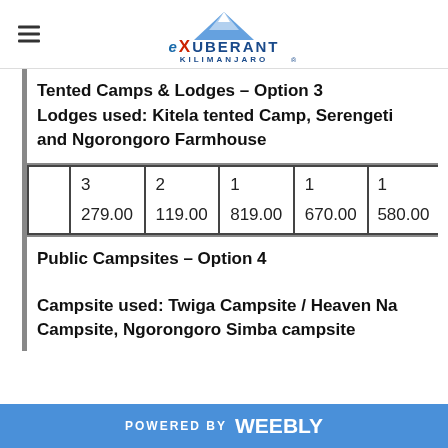eXuberant Kilimanjaro logo
Tented Camps & Lodges – Option 3
Lodges used: Kitela tented Camp, Serengeti and Ngorongoro Farmhouse
|  | 3
279.00 | 2
119.00 | 1
819.00 | 1
670.00 | 1
580.00 |
| --- | --- | --- | --- | --- | --- |
|  |
Public Campsites – Option 4
Campsite used: Twiga Campsite / Heaven Na Campsite, Ngorongoro Simba campsite
POWERED BY weebly